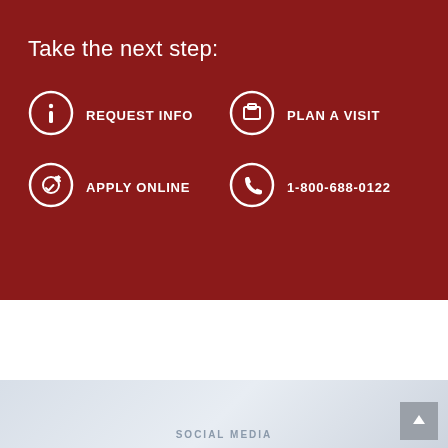Take the next step:
REQUEST INFO
PLAN A VISIT
APPLY ONLINE
1-800-688-0122
SOCIAL MEDIA